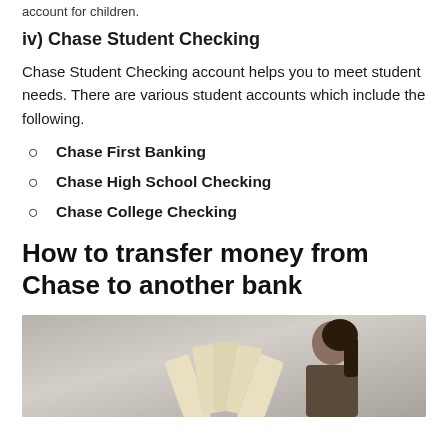account for children.
iv) Chase Student Checking
Chase Student Checking account helps you to meet student needs. There are various student accounts which include the following.
Chase First Banking
Chase High School Checking
Chase College Checking
How to transfer money from Chase to another bank
[Figure (photo): A woman holding a fan of cash bills]